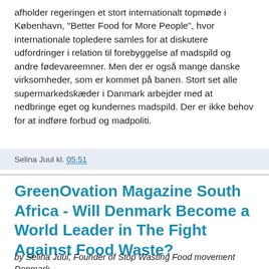afholder regeringen et stort internationalt topmøde i København, "Better Food for More People", hvor internationale topledere samles for at diskutere udfordringer i relation til forebyggelse af madspild og andre fødevareemner. Men der er også mange danske virksomheder, som er kommet på banen. Stort set alle supermarkedskæder i Danmark arbejder med at nedbringe eget og kundernes madspild. Der er ikke behov for at indføre forbud og madpoliti.
Selina Juul kl. 05.51
GreenOvation Magazine South Africa - Will Denmark Become a World Leader in The Fight Against Food Waste?
by Selina Juul, Founder of Stop Wasting Food movement Denmark